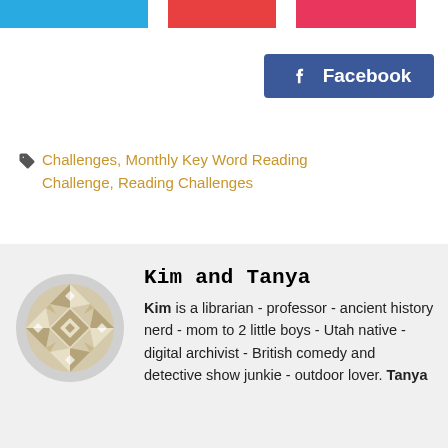[Figure (other): Three colored navigation bar segments: blue, red, and pink/red]
[Figure (other): Facebook button with Facebook logo icon in dark blue]
Challenges, Monthly Key Word Reading Challenge, Reading Challenges
[Figure (illustration): Circular avatar logo with geometric quilt-like pattern in beige/tan and white on a light gray circle background]
Kim and Tanya
Kim is a librarian - professor - ancient history nerd - mom to 2 little boys - Utah native - digital archivist - British comedy and detective show junkie - outdoor lover. Tanya